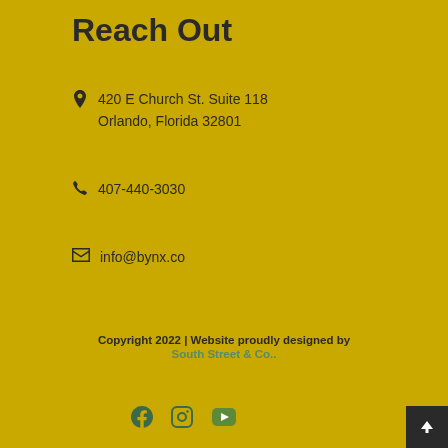Reach Out
420 E Church St. Suite 118
Orlando, Florida 32801
407-440-3030
info@bynx.co
Copyright 2022 | Website proudly designed by South Street & Co..
[Figure (other): Social media icons: Facebook, Instagram, YouTube]
[Figure (other): Back to top button with upward arrow]